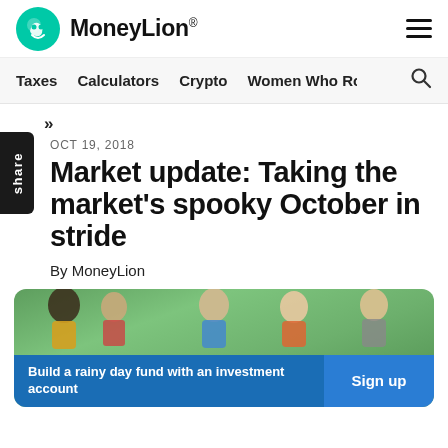MoneyLion
Taxes  Calculators  Crypto  Women Who Ro:
»
OCT 19, 2018
Market update: Taking the market's spooky October in stride
By MoneyLion
[Figure (photo): Group of children smiling outdoors on green grass, with a CTA overlay at the bottom: 'Build a rainy day fund with an investment account' and a 'Sign up' button]
Build a rainy day fund with an investment account
Sign up